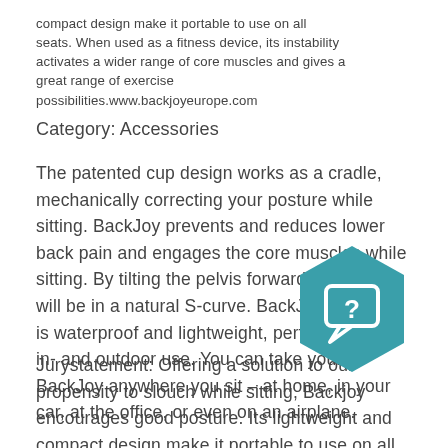compact design make it portable to use on all seats. When used as a fitness device, its instability activates a wider range of core muscles and gives a great range of exercise possibilities.www.backjoyeurope.com
Category: Accessories
The patented cup design works as a cradle, mechanically correcting your posture while sitting. BackJoy prevents and reduces lower back pain and engages the core muscles while sitting. By tilting the pelvis forward, your spine will be in a natural S-curve. BackJoy Posture+ is waterproof and lightweight, perfect for daily in- and outdoor use. You can take your BackJoy anywhere you sit – at home, in your car, at the office, or even on an airplane.
Jurystatement: Offering a solution to our propensity to slouch while sitting, Backjoy encourages good posture. Its lightweight and compact design make it portable to use on all seats. When used as a fitness device, its instability
[Figure (illustration): Teal hexagon chat/help icon with a question mark speech bubble symbol]